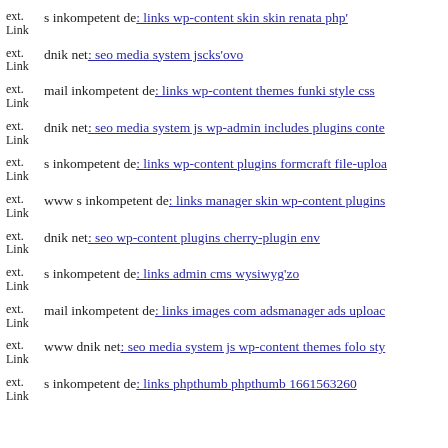ext. Link s inkompetent de: links wp-content skin skin renata php'
ext. Link dnik net: seo media system jscks'ovo
ext. Link mail inkompetent de: links wp-content themes funki style css
ext. Link dnik net: seo media system js wp-admin includes plugins conte
ext. Link s inkompetent de: links wp-content plugins formcraft file-uploa
ext. Link www s inkompetent de: links manager skin wp-content plugins
ext. Link dnik net: seo wp-content plugins cherry-plugin env
ext. Link s inkompetent de: links admin cms wysiwyg'zo
ext. Link mail inkompetent de: links images com adsmanager ads uploac
ext. Link www dnik net: seo media system js wp-content themes folo sty
ext. Link s inkompetent de: links phpthumb phpthumb 1661563260